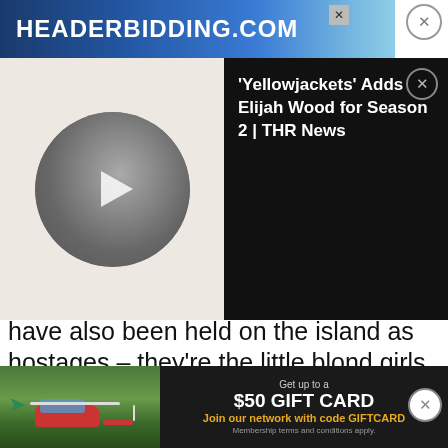[Figure (screenshot): Top advertisement banner for headerbidding.com with blue gradient background and white bold text reading HEADERBIDDING.COM, with close X buttons]
[Figure (screenshot): Video overlay panel: left side shows a black-and-white circular portrait photo with a play button on light background; right side shows dark panel with text 'Yellowjackets Adds Elijah Wood for Season 2 | THR News' in white on black background with close button]
have also been held on the island as hostages – they're the little blond girls we've seen glimpses of throughout these episodes, mostly during Sam's addled imagining. After a tense sequence aboard a boat, it's Jess who ultimately returns Sam to the island, where she reunites with her children, he reunites with his, and he
assumes his role as Genuine Father while innui... thud into the camera.
[Figure (screenshot): Bottom advertisement banner showing a helicopter over trees on left, and dark right panel with text: Get up to a $50 GIFT CARD Join our network with code GIFTCARD Membership terms and conditions apply.]